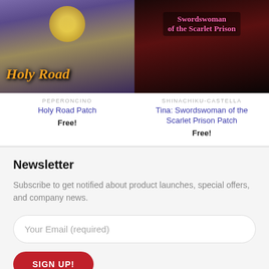[Figure (illustration): Holy Road game cover artwork showing fantasy characters with golden text 'Holy Road' at bottom]
[Figure (illustration): Swordswoman of the Scarlet Prison game cover artwork with pink title text on dark background]
PEPERONCINO
Holy Road Patch
Free!
SHINACHIKU-CASTELLA
Tina: Swordswoman of the Scarlet Prison Patch
Free!
Newsletter
Subscribe to get notified about product launches, special offers, and company news.
Your Email (required)
SIGN UP!